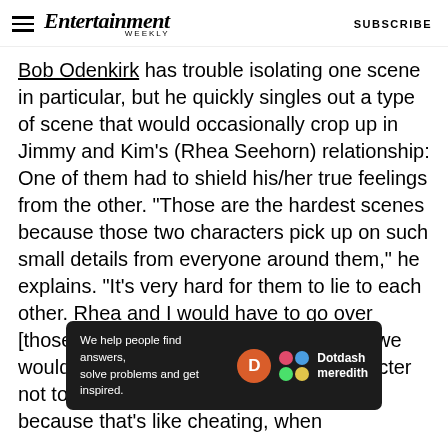Entertainment Weekly — SUBSCRIBE
Bob Odenkirk has trouble isolating one scene in particular, but he quickly singles out a type of scene that would occasionally crop up in Jimmy and Kim's (Rhea Seehorn) relationship: One of them had to shield his/her true feelings from the other. "Those are the hardest scenes because those two characters pick up on such small details from everyone around them," he explains. "It's very hard for them to lie to each other. Rhea and I would have to go over [those scenes repeatedly]. A lot of times we would try to figure out ways for the character not to be looking at the other character, because that's like cheating, when...
[Figure (other): Advertisement banner: We help people find answers, solve problems and get inspired. Dotdash meredith logo.]